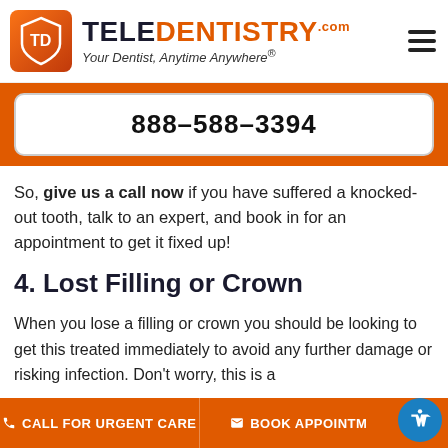[Figure (logo): TeleDentistry logo with orange shield icon and text 'TELEDENTISTRY.com — Your Dentist, Anytime Anywhere®']
888-588-3394
So, give us a call now if you have suffered a knocked-out tooth, talk to an expert, and book in for an appointment to get it fixed up!
4. Lost Filling or Crown
When you lose a filling or crown you should be looking to get this treated immediately to avoid any further damage or risking infection. Don't worry, this is a
CALL FOR URGENT CARE   BOOK APPOINTM...